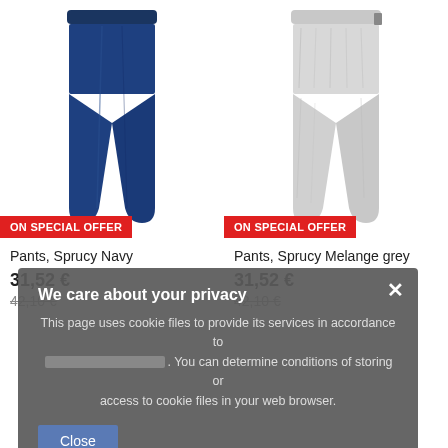[Figure (photo): Navy blue thermal pants product photo]
ON SPECIAL OFFER
Pants, Sprucy Navy
31,52 €
42,10 €
[Figure (photo): Melange grey thermal pants product photo]
ON SPECIAL OFFER
Pants, Sprucy Melange grey
31,52 €
42,10 €
We care about your privacy
This page uses cookie files to provide its services in accordance to . You can determine conditions of storing or access to cookie files in your web browser.
Close